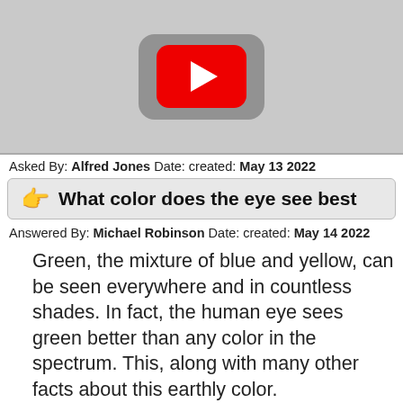[Figure (screenshot): YouTube video thumbnail placeholder — grey background with dark rounded rectangle YouTube logo shape and red play button in the center]
Asked By: Alfred Jones Date: created: May 13 2022
👉  What color does the eye see best
Answered By: Michael Robinson Date: created: May 14 2022
Green, the mixture of blue and yellow, can be seen everywhere and in countless shades. In fact, the human eye sees green better than any color in the spectrum. This, along with many other facts about this earthly color.